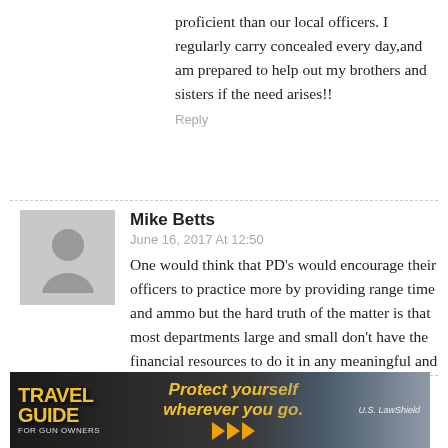proficient than our local officers. I regularly carry concealed every day,and am prepared to help out my brothers and sisters if the need arises!!
Reply
Mike Betts
June 16, 2017 At 12:50
One would think that PD's would encourage their officers to practice more by providing range time and ammo but the hard truth of the matter is that most departments large and small don't have the financial resources to do it in any meaningful and effective way.
Reply
[Figure (infographic): Travel Guide for Gun Owners advertisement banner. Dark background with orange/gold text saying 'TRAVEL GUIDE FOR GUN OWNERS', center text 'Protect yourself wherever you go.' with orange arrow icons, and U.S. LawShield logo on the right.]